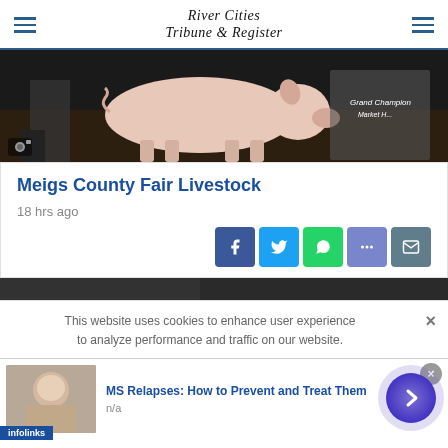River Cities Tribune & Register
[Figure (photo): Pig at a livestock fair show, with a Grand Champion Market sign visible in the background. Dark soil ground.]
Meigs County Fair Livestock
18 hrs ago
[Figure (screenshot): Social media share buttons: Facebook, Twitter, WhatsApp, message, email]
[Figure (photo): Partial second article image strip, dark toned]
This website uses cookies to enhance user experience to analyze performance and traffic on our website.
[Figure (advertisement): Infolinks ad: MS Relapses: How to Prevent and Treat Them, with image of a woman and a navigation arrow button. n/a label.]